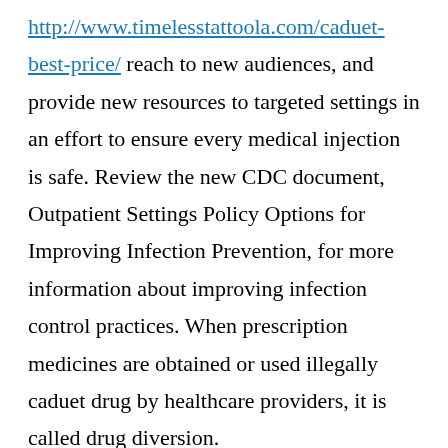http://www.timelesstattoola.com/caduet-best-price/ reach to new audiences, and provide new resources to targeted settings in an effort to ensure every medical injection is safe. Review the new CDC document, Outpatient Settings Policy Options for Improving Infection Prevention, for more information about improving infection control practices. When prescription medicines are obtained or used illegally caduet drug by healthcare providers, it is called drug diversion.